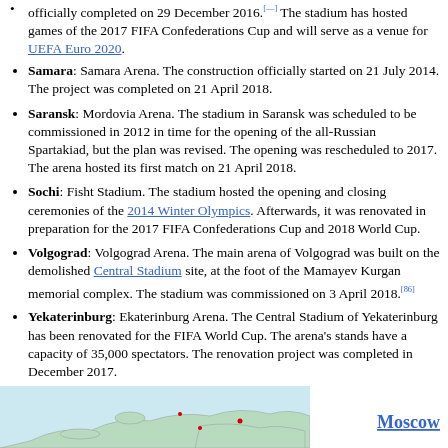officially completed on 29 December 2016.[—] The stadium has hosted games of the 2017 FIFA Confederations Cup and will serve as a venue for UEFA Euro 2020.
Samara: Samara Arena. The construction officially started on 21 July 2014. The project was completed on 21 April 2018.
Saransk: Mordovia Arena. The stadium in Saransk was scheduled to be commissioned in 2012 in time for the opening of the all-Russian Spartakiad, but the plan was revised. The opening was rescheduled to 2017. The arena hosted its first match on 21 April 2018.
Sochi: Fisht Stadium. The stadium hosted the opening and closing ceremonies of the 2014 Winter Olympics. Afterwards, it was renovated in preparation for the 2017 FIFA Confederations Cup and 2018 World Cup.
Volgograd: Volgograd Arena. The main arena of Volgograd was built on the demolished Central Stadium site, at the foot of the Mamayev Kurgan memorial complex. The stadium was commissioned on 3 April 2018.[86]
Yekaterinburg: Ekaterinburg Arena. The Central Stadium of Yekaterinburg has been renovated for the FIFA World Cup. The arena's stands have a capacity of 35,000 spectators. The renovation project was completed in December 2017.
[Figure (map): Partial map showing Russia with city markers, with Moscow label in bold blue on the right side]